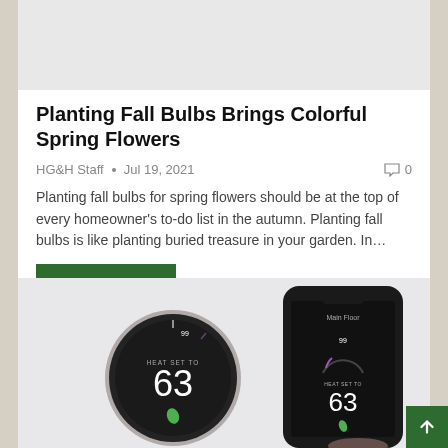[Figure (photo): Gray placeholder image area at the top of article card]
Planting Fall Bulbs Brings Colorful Spring Flowers
HG&H Staff • Jul 19, 2021 ◯ 0
Planting fall bulbs for spring flowers should be at the top of every homeowner's to-do list in the autumn. Planting fall bulbs is like planting buried treasure in your garden. In…
READ MORE...
[Figure (photo): Photo of a Nest thermostat showing temperature 63 next to a smartphone displaying the same thermostat app with temperature 63 on Main Floor]